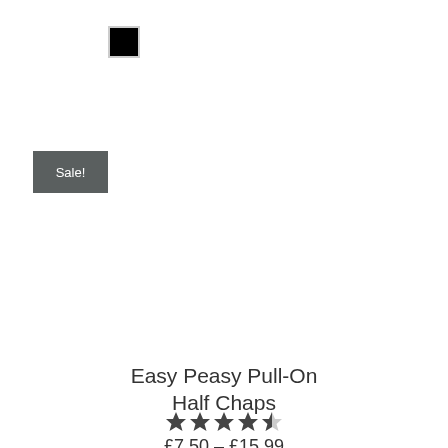[Figure (other): Black color swatch with light grey border]
Sale!
Easy Peasy Pull-On Half Chaps
[Figure (other): 4.5 out of 5 stars rating]
£7.50 – £15.99